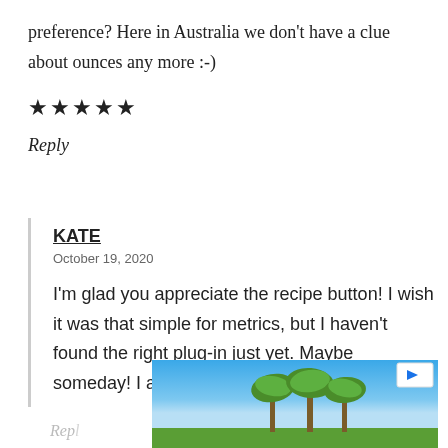preference? Here in Australia we don't have a clue about ounces any more :-)
★★★★★
Reply
KATE
October 19, 2020
I'm glad you appreciate the recipe button! I wish it was that simple for metrics, but I haven't found the right plug-in just yet. Maybe someday! I appreciate your feedback.
[Figure (photo): Advertisement banner showing palm trees against a blue sky with a play button icon in the top right corner]
Rep…